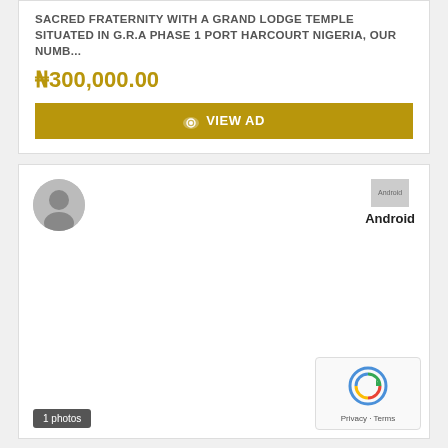SACRED FRATERNITY WITH A GRAND LODGE TEMPLE SITUATED IN G.R.A PHASE 1 PORT HARCOURT NIGERIA, OUR NUMB...
₦300,000.00
VIEW AD
[Figure (illustration): User avatar placeholder circle (grey)]
[Figure (screenshot): Android badge with broken image placeholder and Android label text]
1 photos
[Figure (screenshot): reCAPTCHA widget with Privacy and Terms links]